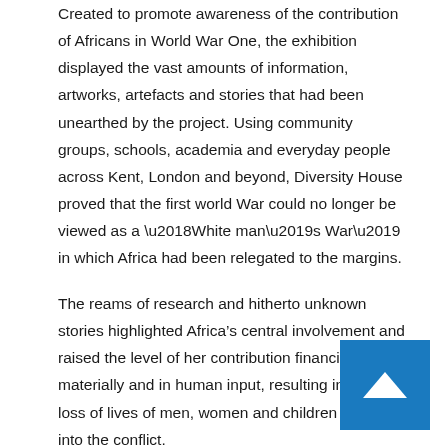Created to promote awareness of the contribution of Africans in World War One, the exhibition displayed the vast amounts of information, artworks, artefacts and stories that had been unearthed by the project. Using community groups, schools, academia and everyday people across Kent, London and beyond, Diversity House proved that the first world War could no longer be viewed as a ‘White man’s War’ in which Africa had been relegated to the margins.
The reams of research and hitherto unknown stories highlighted Africa’s central involvement and raised the level of her contribution financially, materially and in human input, resulting in heavy loss of lives of men, women and children drawn into the conflict.